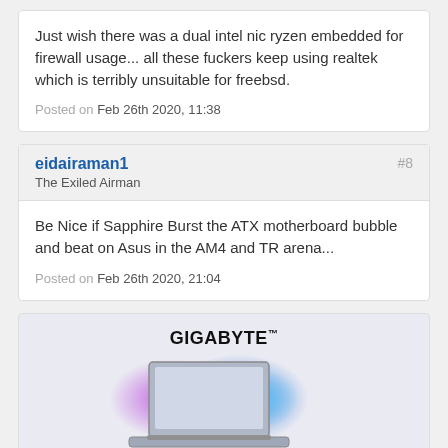Just wish there was a dual intel nic ryzen embedded for firewall usage... all these fuckers keep using realtek which is terribly unsuitable for freebsd.
Posted on Feb 26th 2020, 11:38
eidairaman1
The Exiled Airman
#8
Be Nice if Sapphire Burst the ATX motherboard bubble and beat on Asus in the AM4 and TR arena...
Posted on Feb 26th 2020, 21:04
[Figure (photo): GIGABYTE advertisement banner with laptop image and colorful splash background]